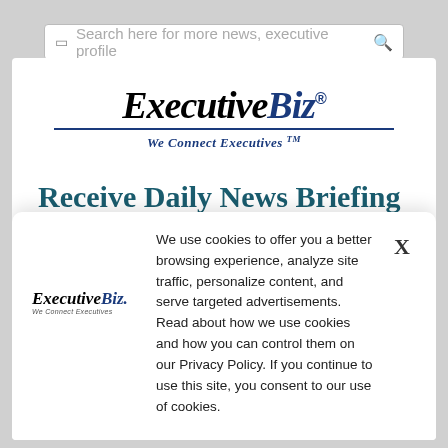[Figure (screenshot): Search bar with placeholder text 'Search here for more news, executive profile' and a search icon on the right]
[Figure (logo): ExecutiveBiz logo with tagline 'We Connect Executives TM']
Receive Daily News Briefing And Event Updates Straight
[Figure (screenshot): Cookie consent overlay with ExecutiveBiz small logo on the left, cookie policy text in the center, and an X close button on the right]
We use cookies to offer you a better browsing experience, analyze site traffic, personalize content, and serve targeted advertisements. Read about how we use cookies and how you can control them on our Privacy Policy. If you continue to use this site, you consent to our use of cookies.